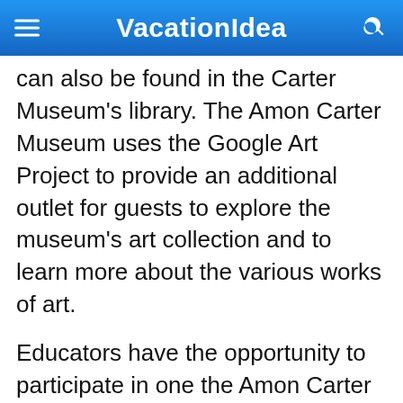VacationIdea
can also be found in the Carter Museum's library. The Amon Carter Museum uses the Google Art Project to provide an additional outlet for guests to explore the museum's art collection and to learn more about the various works of art.
Educators have the opportunity to participate in one the Amon Carter Museum's professional development programs. The museum provides interactive workshops that cover its collections, as well as programs tailored for preservice educators